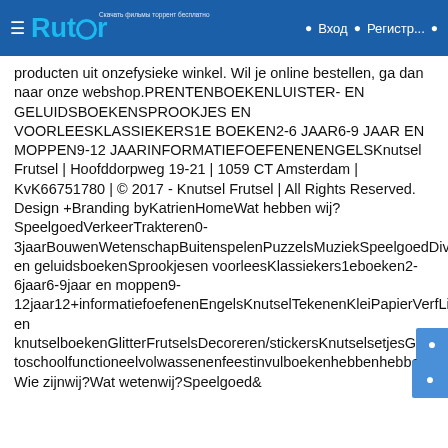Rutor — Вход — Регистр...
producten uit onzefysieke winkel. Wil je online bestellen, ga dan naar onze webshop.PRENTENBOEKENLUISTER- EN GELUIDSBOEKENSPROOKJES EN VOORLEESKLASSIEKERS1E BOEKEN2-6 JAAR6-9 JAAR EN MOPPEN9-12 JAARINFORMATIEFOEFENENENGELSKnutsel Frutsel | Hoofddorpweg 19-21 | 1059 CT Amsterdam | KvK66751780 | © 2017 - Knutsel Frutsel | All Rights Reserved. Design +Branding byKatrienHomeWat hebben wij? SpeelgoedVerkeerTrakteren0-3jaarBouwenWetenschapBuitenspelenPuzzelsMuziekSpeelgoedDiversVerkleedBeestenboelSpellenBoekenPrentenboekenLuister-en geluidsboekenSprookjesen voorleesKlassiekers1eboeken2-6jaar6-9jaar en moppen9-12jaar12+informatiefoefenenEngelsKnutselTekenenKleiPapierVerfLijmTextielKleur-en knutselboekenGlitterFrutselsDecoreren/stickersKnutselsetjesGereedschapHebbenSchriftenKaartenrugzakkenserviessieradenback toschoolfunctioneelvolwassenenfeestinvulboekenhebbenhebben Wie zijnwij?Wat wetenwij?Speelgoed&